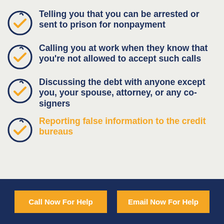Telling you that you can be arrested or sent to prison for nonpayment
Calling you at work when they know that you're not allowed to accept such calls
Discussing the debt with anyone except you, your spouse, attorney, or any co-signers
Reporting false information to the credit bureaus
Call Now For Help
Email Now For Help